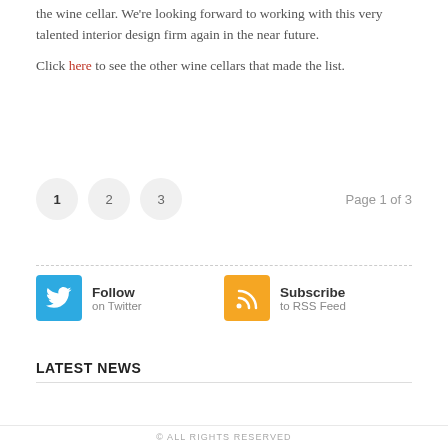the wine cellar. We're looking forward to working with this very talented interior design firm again in the near future.
Click here to see the other wine cellars that made the list.
1  2  3    Page 1 of 3
[Figure (infographic): Twitter Follow button and RSS Subscribe button side by side]
LATEST NEWS
© ALL RIGHTS RESERVED